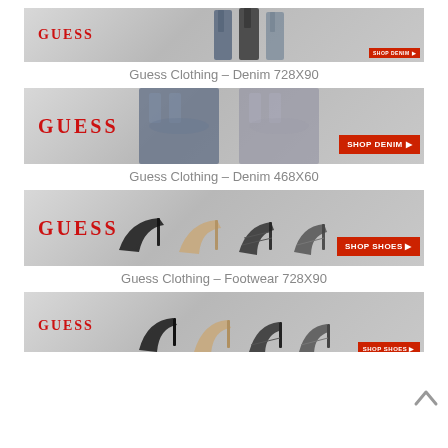[Figure (illustration): Guess Clothing Denim banner ad 728x90 with GUESS logo in red, two women in jeans, SHOP DENIM button]
Guess Clothing – Denim 728X90
[Figure (illustration): Guess Clothing Denim banner ad 468x60 with GUESS logo in red, two women in jeans close-up, SHOP DENIM button]
Guess Clothing – Denim 468X60
[Figure (illustration): Guess Clothing Footwear banner ad 728x90 with GUESS logo in red, four pairs of heeled shoes, SHOP SHOES button]
Guess Clothing – Footwear 728X90
[Figure (illustration): Guess Clothing Footwear banner ad 468x60 partially visible with GUESS logo in red, heeled shoes, SHOP SHOES button]